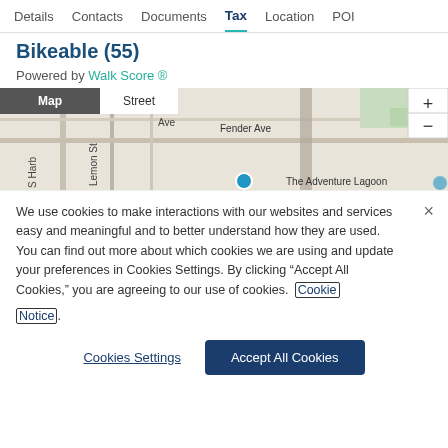Details  Contacts  Documents  Tax  Location  POI
Bikeable (55)
Powered by Walk Score ®
[Figure (map): Street map showing local area with Map/Street toggle tabs, zoom +/- buttons, labels for Placer, E Crowth, Fender Ave, Lemon St, S Harb, The Adventure Lagoon, and a location marker dot.]
We use cookies to make interactions with our websites and services easy and meaningful and to better understand how they are used. You can find out more about which cookies we are using and update your preferences in Cookies Settings. By clicking “Accept All Cookies,” you are agreeing to our use of cookies. Cookie Notice.
Cookies Settings
Accept All Cookies